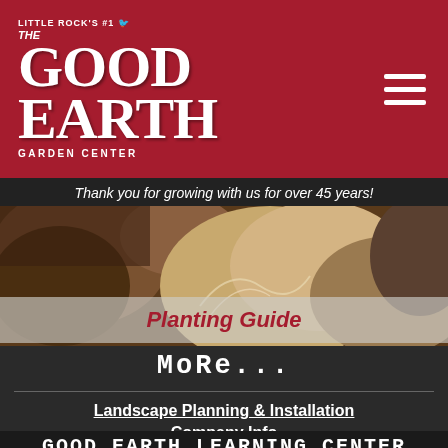Little Rock's #1 THE GOOD EARTH GARDEN CENTER
Thank you for growing with us for over 45 years!
[Figure (photo): Close-up photo of soil, sand, and plant roots being planted in ground]
Planting Guide
MORE...
Landscape Planning & Installation
Company Info
GOOD EARTH LEARNING CENTER